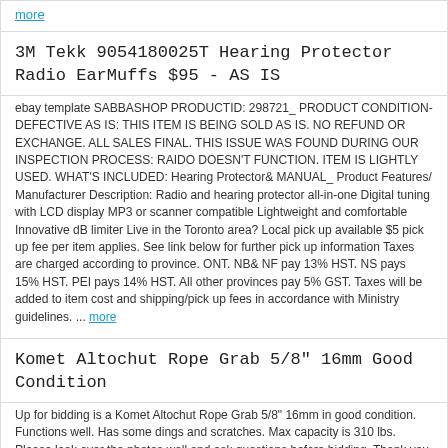more
3M Tekk 9054180025T Hearing Protector Radio EarMuffs $95 - AS IS
ebay template SABBASHOP PRODUCTID: 298721_ PRODUCT CONDITION- DEFECTIVE AS IS: THIS ITEM IS BEING SOLD AS IS. NO REFUND OR EXCHANGE. ALL SALES FINAL. THIS ISSUE WAS FOUND DURING OUR INSPECTION PROCESS: RAIDO DOESN'T FUNCTION. ITEM IS LIGHTLY USED. WHAT'S INCLUDED: Hearing Protector& MANUAL_ Product Features/ Manufacturer Description: Radio and hearing protector all-in-one Digital tuning with LCD display MP3 or scanner compatible Lightweight and comfortable Innovative dB limiter Live in the Toronto area? Local pick up available $5 pick up fee per item applies. See link below for further pick up information Taxes are charged according to province. ONT. NB& NF pay 13% HST. NS pays 15% HST. PEI pays 14% HST. All other provinces pay 5% GST. Taxes will be added to item cost and shipping/pick up fees in accordance with Ministry guidelines. ... more
Komet Altochut Rope Grab 5/8" 16mm Good Condition
Up for bidding is a Komet Altochut Rope Grab 5/8" 16mm in good condition. Functions well. Has some dings and scratches. Max capacity is 310 lbs. Please look over the photos well and ask questions before bidding. Thank you.